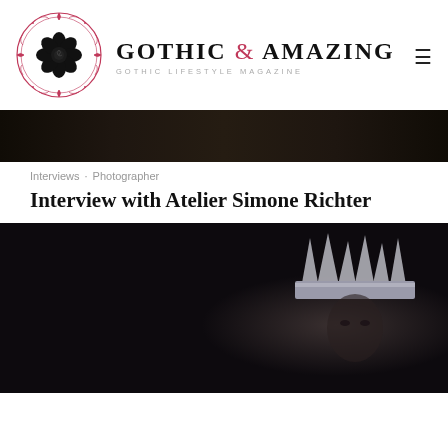[Figure (logo): Gothic & Amazing magazine logo: a black rose inside an ornate circular border with decorative filigree, pink/red outline]
Gothic & Amazing — Gothic Lifestyle Magazine
[Figure (photo): Dark textured banner image, near-black, appears to be a dark wood or leather texture]
Interviews · Photographer
Interview with Atelier Simone Richter
[Figure (photo): Dark atmospheric photo of a person wearing a dramatic silver spiked crown, shot against a dark blurred background, fantasy/gothic style]